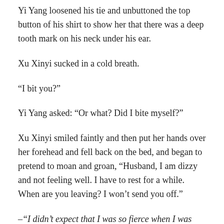Yi Yang loosened his tie and unbuttoned the top button of his shirt to show her that there was a deep tooth mark on his neck under his ear.
Xu Xinyi sucked in a cold breath.
“I bit you?”
Yi Yang asked: “Or what? Did I bite myself?”
Xu Xinyi smiled faintly and then put her hands over her forehead and fell back on the bed, and began to pretend to moan and groan, “Husband, I am dizzy and not feeling well. I have to rest for a while. When are you leaving? I won’t send you off.”
–“I didn’t expect that I was so fierce when I was drunk. The next time this dog man Yi Yang dares to mess with me, I’ll get drunk again and kill him!”